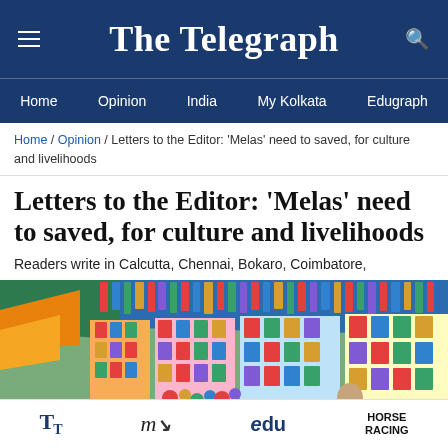The Telegraph
Home | Opinion | India | My Kolkata | Edugraph
Home / Opinion / Letters to the Editor: 'Melas' need to saved, for culture and livelihoods
Letters to the Editor: 'Melas' need to saved, for culture and livelihoods
Readers write in Calcutta, Chennai, Bokaro, Coimbatore,
[Figure (photo): Colorful market stalls at a mela (fair) with people shopping, vibrant merchandise hanging and displayed, tarpaulin roof overhead]
TT | my | edu | HORSE RACING